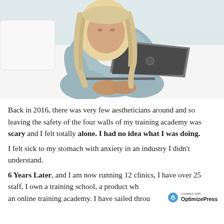[Figure (photo): Woman with long blonde wavy hair wearing a light blue/grey outfit sitting on a white bed with an Apple MacBook laptop open in front of her]
Back in 2016, there was very few aestheticians around and so leaving the safety of the four walls of my training academy was scary and I felt totally alone. I had no idea what I was doing.
I felt sick to my stomach with anxiety in an industry I didn't understand.
6 Years Later, and I am now running 12 clinics, I have over 25 staff, I own a training school, a product who an online training academy. I have sailed throu